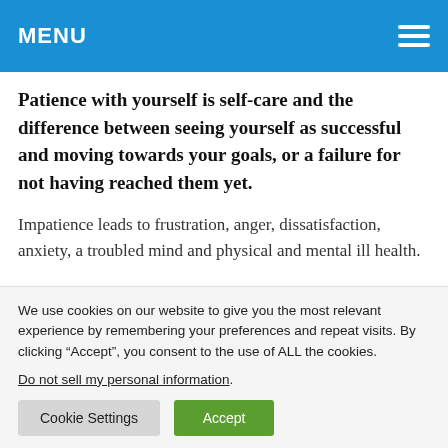MENU
Patience with yourself is self-care and the difference between seeing yourself as successful and moving towards your goals, or a failure for not having reached them yet.
Impatience leads to frustration, anger, dissatisfaction, anxiety, a troubled mind and physical and mental ill health.
We use cookies on our website to give you the most relevant experience by remembering your preferences and repeat visits. By clicking “Accept”, you consent to the use of ALL the cookies.
Do not sell my personal information.